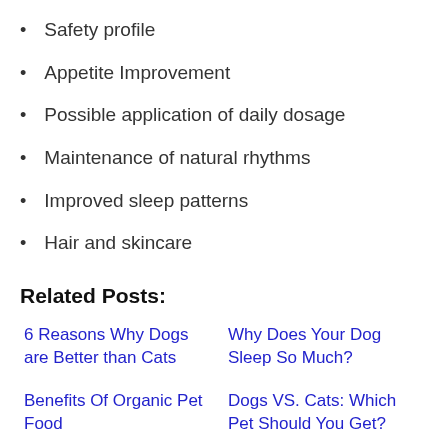Safety profile
Appetite Improvement
Possible application of daily dosage
Maintenance of natural rhythms
Improved sleep patterns
Hair and skincare
Related Posts:
6 Reasons Why Dogs are Better than Cats
Why Does Your Dog Sleep So Much?
Benefits Of Organic Pet Food
Dogs VS. Cats: Which Pet Should You Get?